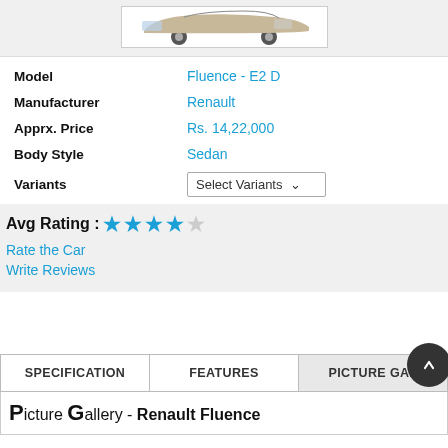[Figure (photo): Front view of a car (Renault Fluence) shown in a white-background photo box]
| Model | Fluence - E2 D |
| Manufacturer | Renault |
| Apprx. Price | Rs. 14,22,000 |
| Body Style | Sedan |
| Variants | Select Variants |
Avg Rating : ★ ★ ★ ★ ☆
Rate the Car
Write Reviews
SPECIFICATION | FEATURES | PICTURE GALLERY
Picture Gallery - Renault Fluence